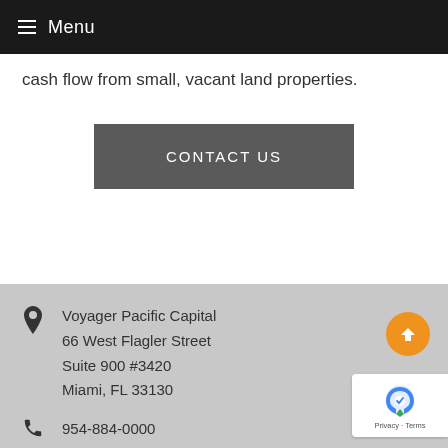≡ Menu
cash flow from small, vacant land properties.
CONTACT US
Voyager Pacific Capital
66 West Flagler Street
Suite 900 #3420
Miami, FL 33130
954-884-0000